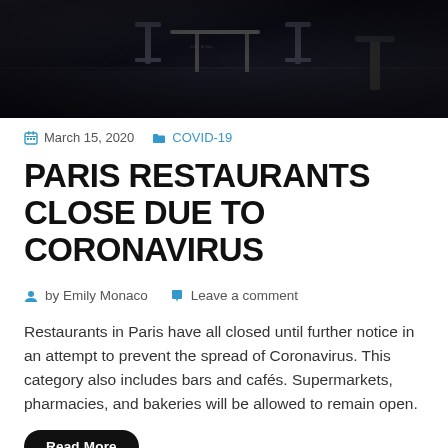[Figure (photo): Black and white photo of a dimly lit Paris restaurant interior with chairs and tables, dark atmospheric setting]
March 15, 2020   COVID-19
PARIS RESTAURANTS CLOSE DUE TO CORONAVIRUS
by Emily Monaco   Leave a comment
Restaurants in Paris have all closed until further notice in an attempt to prevent the spread of Coronavirus. This category also includes bars and cafés. Supermarkets, pharmacies, and bakeries will be allowed to remain open.
Read More